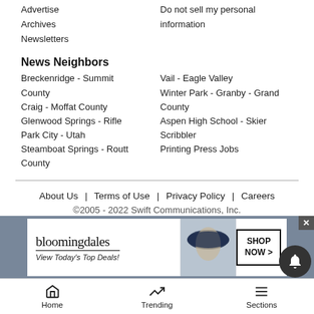Advertise
Archives
Newsletters
Do not sell my personal information
News Neighbors
Breckenridge - Summit County
Craig - Moffat County
Glenwood Springs - Rifle
Park City - Utah
Steamboat Springs - Routt County
Vail - Eagle Valley
Winter Park - Granby - Grand County
Aspen High School - Skier Scribbler
Printing Press Jobs
About Us  |  Terms of Use  |  Privacy Policy  |  Careers
©2005 - 2022 Swift Communications, Inc.
[Figure (screenshot): Bloomingdale's advertisement banner: logo, 'View Today's Top Deals!', woman with hat, SHOP NOW button]
Home   Trending   Sections